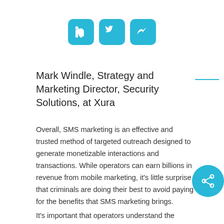[Figure (infographic): Three social sharing icons: LinkedIn, Twitter, and a share/forward arrow, each in a rounded teal square]
Mark Windle, Strategy and Marketing Director, Security Solutions, at Xura
Overall, SMS marketing is an effective and trusted method of targeted outreach designed to generate monetizable interactions and transactions. While operators can earn billions in revenue from mobile marketing, it’s little surprise that criminals are doing their best to avoid paying for the benefits that SMS marketing brings.
It’s important that operators understand the